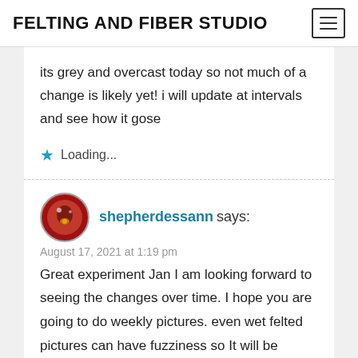FELTING AND FIBER STUDIO
its grey and overcast today so not much of a change is likely yet! i will update at intervals and see how it gose
★ Loading...
shepherdessann says:
August 17, 2021 at 1:19 pm
Great experiment Jan I am looking forward to seeing the changes over time. I hope you are going to do weekly pictures. even wet felted pictures can have fuzziness so It will be interesting to see how it works. did the